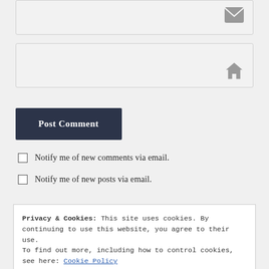[Figure (screenshot): Email input field with envelope icon on right]
[Figure (screenshot): Website input field with house/home icon on right]
Post Comment
Notify me of new comments via email.
Notify me of new posts via email.
Privacy & Cookies: This site uses cookies. By continuing to use this website, you agree to their use.
To find out more, including how to control cookies, see here: Cookie Policy
Close and accept